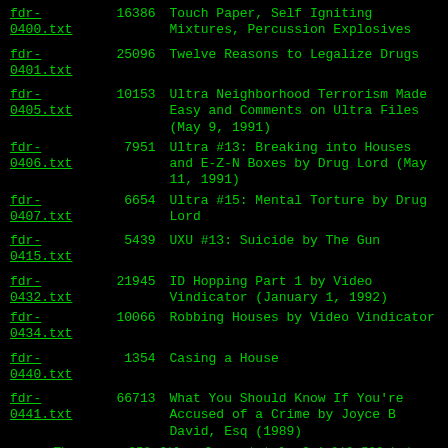| File | Size | Description |
| --- | --- | --- |
| fdr-0400.txt | 16386 | Touch Paper, Self Igniting Mixtures, Percussion Explosives |
| fdr-0401.txt | 25096 | Twelve Reasons to Legalize Drugs |
| fdr-0405.txt | 10153 | Ultra Neighborhood Terrorism Made Easy and Comments on Ultra Files (May 9, 1991) |
| fdr-0406.txt | 7951 | Ultra #13: Breaking into Houses and E-Z-N Boxes by Drug Lord (May 11, 1991) |
| fdr-0407.txt | 6654 | Ultra #15: Mental Torture by Drug Lord |
| fdr-0415.txt | 5439 | UXU #13: Suicide by The Gun |
| fdr-0432.txt | 21945 | ID Hopping Part 1 by Video Vindicator (January 1, 1992) |
| fdr-0434.txt | 10066 | Robbing Houses by Video Vindicator |
| fdr-0440.txt | 1354 | Casing a House |
| fdr-0441.txt | 66713 | What You Should Know If You're Accused of a Crime by Joyce B David, Esq (1989) |
There are 258 files for a total of 4,012,509 bytes.